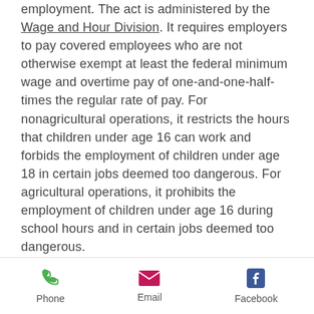employment. The act is administered by the Wage and Hour Division. It requires employers to pay covered employees who are not otherwise exempt at least the federal minimum wage and overtime pay of one-and-one-half-times the regular rate of pay. For nonagricultural operations, it restricts the hours that children under age 16 can work and forbids the employment of children under age 18 in certain jobs deemed too dangerous. For agricultural operations, it prohibits the employment of children under age 16 during school hours and in certain jobs deemed too dangerous.

The Wage and Hour Division also enforces the labor standards provisions
Phone | Email | Facebook